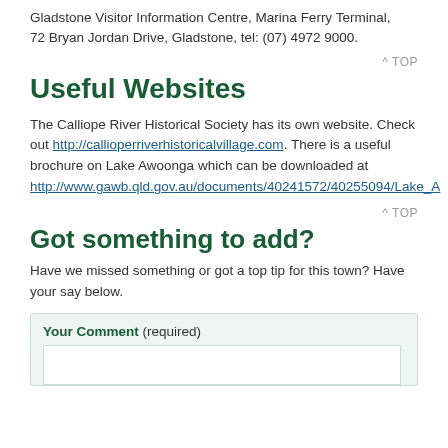Gladstone Visitor Information Centre, Marina Ferry Terminal, 72 Bryan Jordan Drive, Gladstone, tel: (07) 4972 9000.
^ TOP
Useful Websites
The Calliope River Historical Society has its own website. Check out http://callioperriverhistoricalvillage.com. There is a useful brochure on Lake Awoonga which can be downloaded at http://www.gawb.qld.gov.au/documents/40241572/40255094/Lake_A
^ TOP
Got something to add?
Have we missed something or got a top tip for this town? Have your say below.
Your Comment (required)